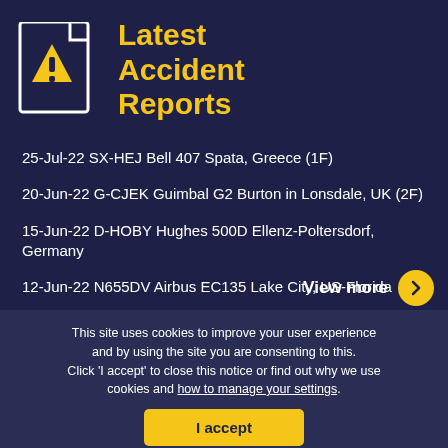Latest Accident Reports
25-Jul-22 SX-HEJ Bell 407 Spata, Greece (1F)
20-Jun-22 G-CJEK Guimbal G2 Burton in Lonsdale, UK (2F)
15-Jun-22 D-HOBY Hughes 500D Ellenz-Poltersdorf, Germany
12-Jun-22 N655DV Airbus EC135 Lake City, US-Florida
View more
This site uses cookies to improve your user experience and by using the site you are consenting to this. Click 'I accept' to close this notice or find out why we use cookies and how to manage your settings.
I accept